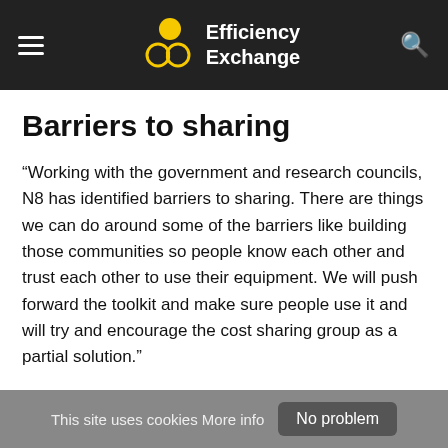Efficiency Exchange
Barriers to sharing
“Working with the government and research councils, N8 has identified barriers to sharing. There are things we can do around some of the barriers like building those communities so people know each other and trust each other to use their equipment. We will push forward the toolkit and make sure people use it and will try and encourage the cost sharing group as a partial solution.”
Simpson acknowledges that it is not easy to solve all the problems and says he is hopeful that the Diamond Review
This site uses cookies More info   No problem